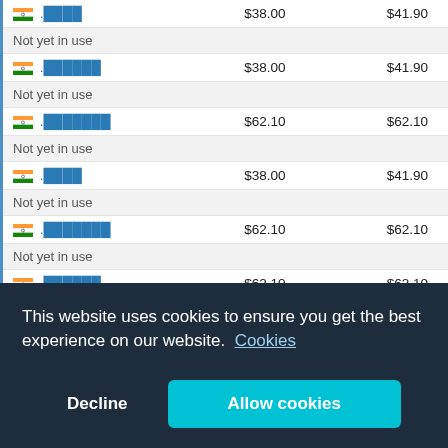| Domain | Register | Renew |
| --- | --- | --- |
| 🇮🇳 .████ | $38.00 | $41.90 |
| Not yet in use |  |  |
| 🇮🇳 .██████ | $38.00 | $41.90 |
| Not yet in use |  |  |
| 🇮🇳 .███████ | $62.10 | $62.10 |
| Not yet in use |  |  |
| 🇮🇳 .████ | $38.00 | $41.90 |
| Not yet in use |  |  |
| 🇮🇳 .███████ | $62.10 | $62.10 |
| Not yet in use |  |  |
| 🇮🇳 .██████ | $62.10 | $62.10 |
| Not yet in use |  |  |
| 🇮🇳 .████ | $52.80 | $59.00 |
| Not yet in use |  |  |
| 🇮🇳 .بھارت | $38.00 | $41.90 |
| Not yet in use |  |  |
| 🇮🇳 .ভ... | $62.10 | $62.10 |
| Not yet in use |  |  |
This website uses cookies to ensure you get the best experience on our website. Cookies
Decline
Allow cookies